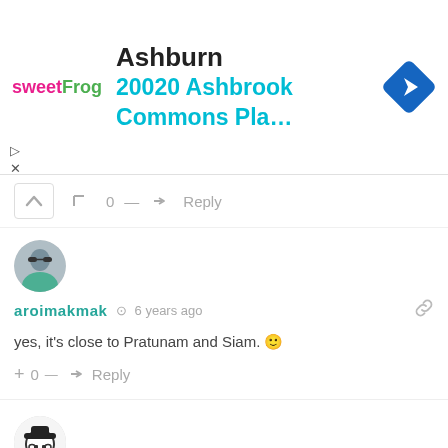[Figure (screenshot): Ad banner for sweetFrog frozen yogurt showing location: Ashburn, 20020 Ashbrook Commons Pla... with navigation arrow icon]
0 — Reply
[Figure (photo): User avatar for aroimakmak - circular profile photo of person wearing sunglasses]
aroimakmak  6 years ago
yes, it's close to Pratunam and Siam. 🙂
+ 0 — Reply
[Figure (illustration): User avatar for vivi - cartoon face with hat illustration]
vivi  6 years ago
Hi, is there any street food or recommended food near LIT bangkok?
+ 0 — Reply